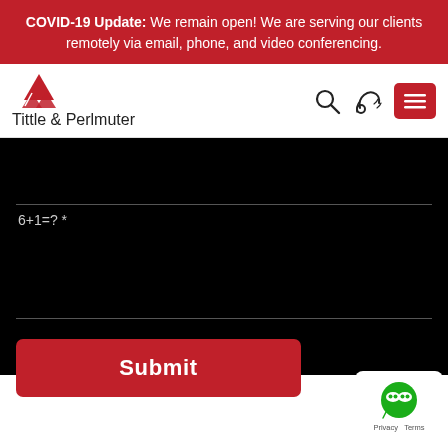COVID-19 Update: We remain open! We are serving our clients remotely via email, phone, and video conferencing.
[Figure (logo): Tittle & Perlmuter law firm logo with red triangle/arrow icon and firm name text]
6+1=? *
Submit
[Figure (other): WeChat widget badge in bottom right corner with Privacy and Terms text]